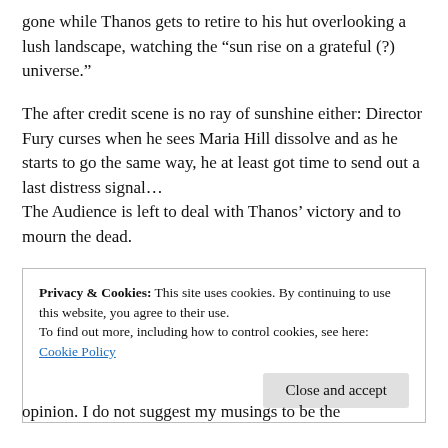gone while Thanos gets to retire to his hut overlooking a lush landscape, watching the “sun rise on a grateful (?) universe.”
The after credit scene is no ray of sunshine either: Director Fury curses when he sees Maria Hill dissolve and as he starts to go the same way, he at least got time to send out a last distress signal…
The Audience is left to deal with Thanos’ victory and to mourn the dead.
Privacy & Cookies: This site uses cookies. By continuing to use this website, you agree to their use.
To find out more, including how to control cookies, see here: Cookie Policy
Close and accept
opinion. I do not suggest my musings to be the